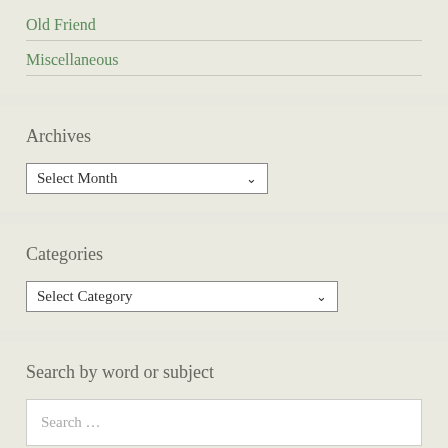Old Friend
Miscellaneous
Archives
Select Month
Categories
Select Category
Search by word or subject
Search …